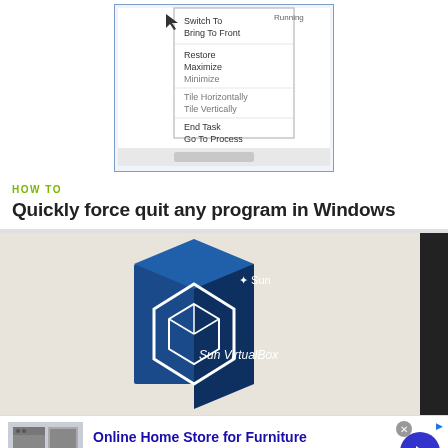[Figure (screenshot): A screenshot of a Windows Task Manager context menu showing options like Switch To, Bring To Front, Maximize, Minimize, Cascade, Tile Horizontally, Tile Vertically, End Task, Go To Process]
HOW TO
Quickly force quit any program in Windows
[Figure (photo): A photo of Sun VirtualBox software box packaging against a beige/tan background, with a dark bar on the right side]
[Figure (screenshot): Advertisement for Wayfair - Online Home Store for Furniture. Shows appliance image on left, text 'Online Home Store for Furniture', 'Shop Wayfair for A Zillion Things Home across all styles', 'www.wayfair.com', blue arrow button on right]